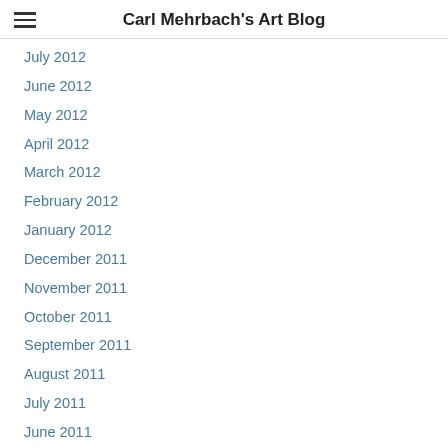Carl Mehrbach's Art Blog
July 2012
June 2012
May 2012
April 2012
March 2012
February 2012
January 2012
December 2011
November 2011
October 2011
September 2011
August 2011
July 2011
June 2011
May 2011
April 2011
March 2011
February 2011